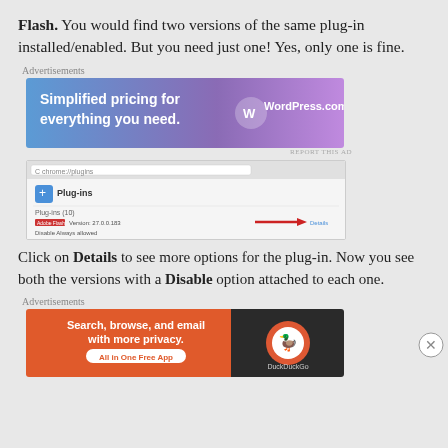Flash. You would find two versions of the same plug-in installed/enabled. But you need just one! Yes, only one is fine.
Advertisements
[Figure (screenshot): WordPress.com advertisement banner: 'Simplified pricing for everything you need.' with WordPress.com logo on blue/purple gradient background]
REPORT THIS AD
[Figure (screenshot): Browser screenshot of Chrome Plug-ins page showing a plugin with a red label and a red arrow pointing to a Details link on the right]
Click on Details to see more options for the plug-in. Now you see both the versions with a Disable option attached to each one.
Advertisements
[Figure (screenshot): DuckDuckGo advertisement: 'Search, browse, and email with more privacy. All in One Free App' on orange background with DuckDuckGo logo on dark background]
REPORT THIS AD